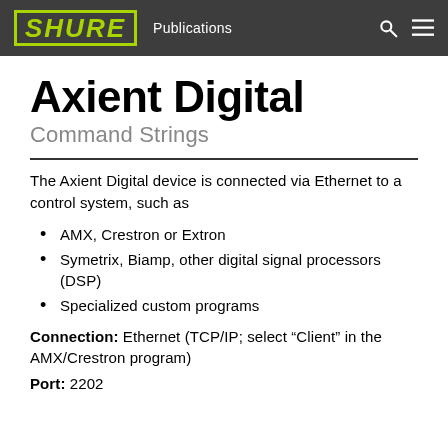SHURE Publications
Axient Digital
Command Strings
The Axient Digital device is connected via Ethernet to a control system, such as
AMX, Crestron or Extron
Symetrix, Biamp, other digital signal processors (DSP)
Specialized custom programs
Connection: Ethernet (TCP/IP; select “Client” in the AMX/Crestron program)
Port: 2202